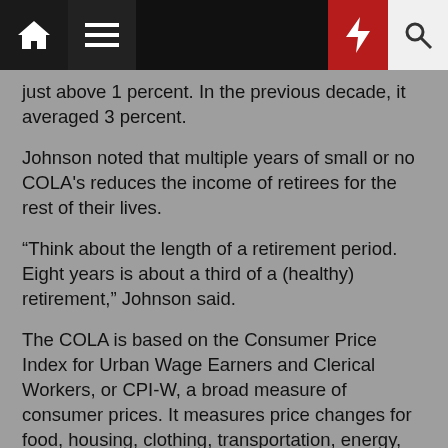Navigation bar with home, menu, lightning, and search icons
just above 1 percent. In the previous decade, it averaged 3 percent.
Johnson noted that multiple years of small or no COLA's reduces the income of retirees for the rest of their lives.
“Think about the length of a retirement period. Eight years is about a third of a (healthy) retirement,” Johnson said.
The COLA is based on the Consumer Price Index for Urban Wage Earners and Clerical Workers, or CPI-W, a broad measure of consumer prices. It measures price changes for food, housing, clothing, transportation, energy, medical care, recreation and education.